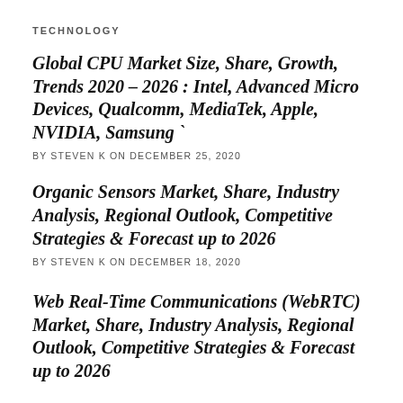TECHNOLOGY
Global CPU Market Size, Share, Growth, Trends 2020 – 2026 : Intel, Advanced Micro Devices, Qualcomm, MediaTek, Apple, NVIDIA, Samsung `
BY STEVEN K ON DECEMBER 25, 2020
Organic Sensors Market, Share, Industry Analysis, Regional Outlook, Competitive Strategies & Forecast up to 2026
BY STEVEN K ON DECEMBER 18, 2020
Web Real-Time Communications (WebRTC) Market, Share, Industry Analysis, Regional Outlook, Competitive Strategies & Forecast up to 2026